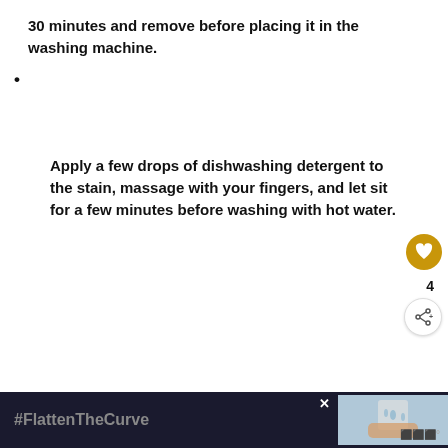30 minutes and remove before placing it in the washing machine.
Apply a few drops of dishwashing detergent to the stain, massage with your fingers, and let sit for a few minutes before washing with hot water.
[Figure (illustration): Advertisement image showing '#ViralKindness' text over a sky background with silhouetted hands forming a heart shape. Includes a 'WHAT'S NEXT' panel showing 'How To Remove Bab...']
[Figure (illustration): Bottom advertisement bar showing '#FlattenTheCurve' text on dark background with an image of hands washing under water.]